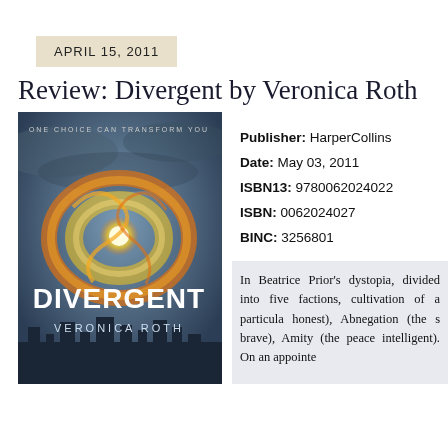APRIL 15, 2011
Review: Divergent by Veronica Roth
[Figure (photo): Book cover of Divergent by Veronica Roth showing fiery rings on a dark cloudy background with the tagline ONE CHOICE CAN TRANSFORM YOU]
Publisher: HarperCollins
Date: May 03, 2011
ISBN13: 9780062024022
ISBN: 0062024027
BINC: 3256801
In Beatrice Prior's dystopia, divided into five factions, cultivation of a particular honest), Abnegation (the s brave), Amity (the peace intelligent). On an appointe